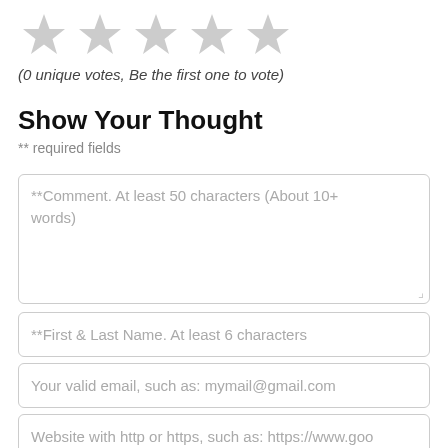[Figure (other): Five grey star icons in a row for a rating widget]
(0 unique votes, Be the first one to vote)
Show Your Thought
** required fields
**Comment. At least 50 characters (About 10+ words)
**First & Last Name. At least 6 characters
Your valid email, such as: mymail@gmail.com
Website with http or https, such as: https://www.goo